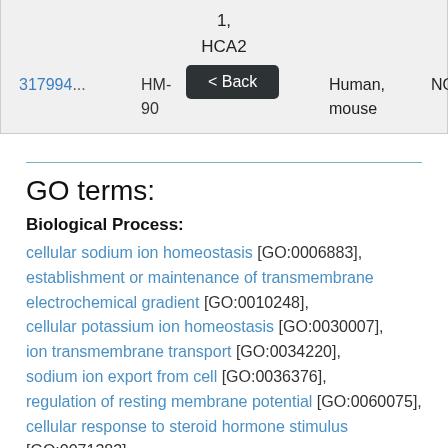| ID | Name | Tissue | Species | NO |
| --- | --- | --- | --- | --- |
| 31799... | HCA-90 | Liver | Human, mouse | NO |
GO terms:
Biological Process:
cellular sodium ion homeostasis [GO:0006883], establishment or maintenance of transmembrane electrochemical gradient [GO:0010248], cellular potassium ion homeostasis [GO:0030007], ion transmembrane transport [GO:0034220], sodium ion export from cell [GO:0036376], regulation of resting membrane potential [GO:0060075], cellular response to steroid hormone stimulus [GO:0071383],